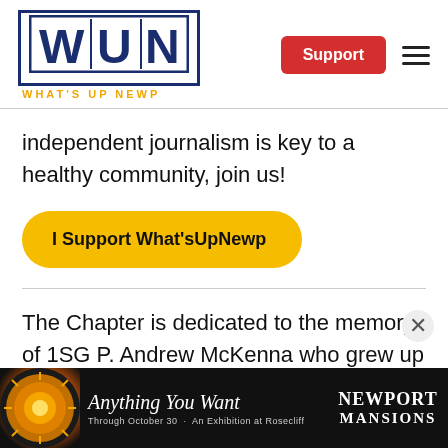[Figure (logo): WUN What's Up Newp logo — large bold W U N letters in a navy bordered box, with 'WHAT'S UP NEWP' in gold below]
Support
independent journalism is key to a healthy community, join us!
I Support What'sUpNewp
The Chapter is dedicated to the memory of 1SG P. Andrew McKenna who grew up in Bristol, Rhode
[Figure (photo): Newport Mansions advertisement — 'Anything You Want' exhibition at Rosecliff, Through October 30]